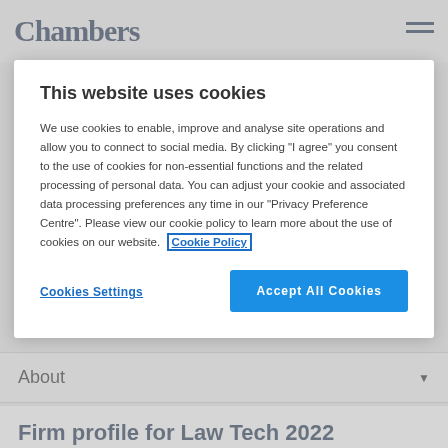Chambers
This website uses cookies
We use cookies to enable, improve and analyse site operations and allow you to connect to social media. By clicking "I agree" you consent to the use of cookies for non-essential functions and the related processing of personal data. You can adjust your cookie and associated data processing preferences any time in our "Privacy Preference Centre". Please view our cookie policy to learn more about the use of cookies on our website. Cookie Policy
Cookies Settings
Accept All Cookies
About
Firm profile for Law Tech 2022